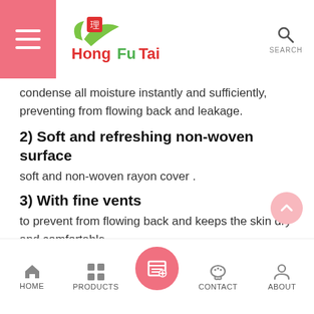HongFuTai — navigation header with logo, hamburger menu, and search
condense all moisture instantly and sufficiently, preventing from flowing back and leakage.
2) Soft and refreshing non-woven surface
soft and non-woven rayon cover .
3) With fine vents
to prevent from flowing back and keeps the skin dry and comfortable.
4) Cartoon taping panel
lets unique adhesive tape be refastened as many times as necessary.
5) Wetness indicator
fades out when diaper gets wet, convenient for nursingInner.
HOME | PRODUCTS | (center button) | CONTACT | ABOUT